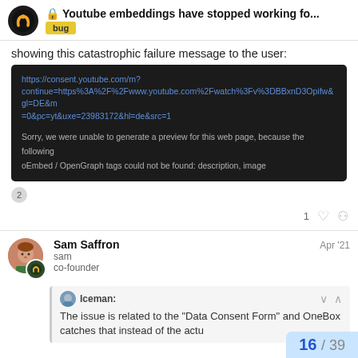Youtube embeddings have stopped working fo... bug
showing this catastrophic failure message to the user:
[Figure (screenshot): Dark background screenshot showing a YouTube consent URL in blue text and an error message: 'Sorry, we were unable to generate a preview for this web page, because the following oEmbed / OpenGraph tags could not be found: description, image']
2
1 [like] [link]
Sam Saffron
sam
co-founder
Apr '21
Iceman:
The issue is related to the "Data Consent Form" and OneBox catches that instead of the actu
16 / 39